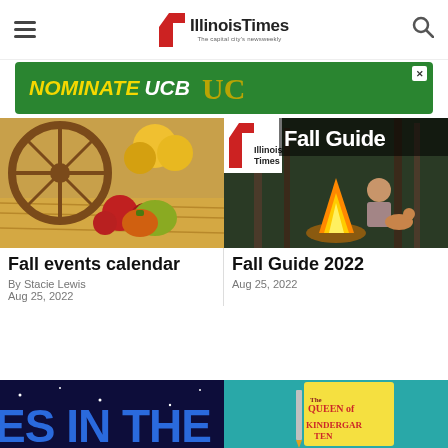Illinois Times — The capital city's newsweekly
[Figure (other): NOMINATE UCB advertisement banner with green background and gold/yellow italic text]
[Figure (photo): Fall harvest scene with wagon wheel, yellow and red chrysanthemums, and pumpkins on hay]
Fall events calendar
By Stacie Lewis
Aug 25, 2022
[Figure (photo): Fall Guide 2022 magazine cover with woman wrapped in blanket sitting by campfire with a dog]
Fall Guide 2022
Aug 25, 2022
[Figure (photo): Bottom left: dark blue background with partial text 'ES IN THE S' in large letters]
[Figure (photo): Bottom right: teal background with book cover 'The Queen of Kindergarten']